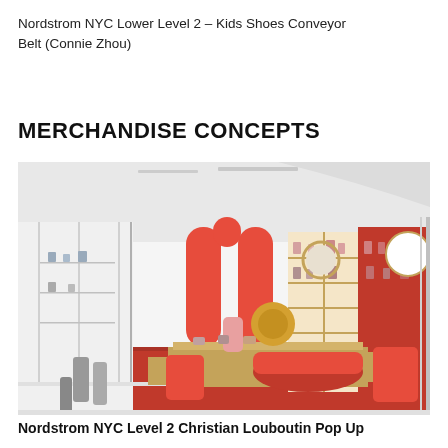Nordstrom NYC Lower Level 2 – Kids Shoes Conveyor Belt (Connie Zhou)
MERCHANDISE CONCEPTS
[Figure (photo): Interior of Nordstrom NYC Level 2 showing a Christian Louboutin pop-up shop area with red carpet, red curved sofa, gold shelving units displaying shoes, red arched display panels, and a glass partition area to the left.]
Nordstrom NYC Level 2 Christian Louboutin Pop Up